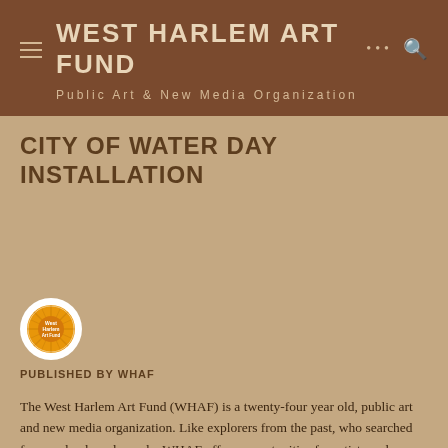WEST HARLEM ART FUND
Public Art & New Media Organization
CITY OF WATER DAY INSTALLATION
[Figure (logo): West Harlem Art Fund circular logo with orange sunburst design on white circle background]
PUBLISHED BY WHAF
The West Harlem Art Fund (WHAF) is a twenty-four year old, public art and new media organization. Like explorers from the past, who searched for new lands and people, WHAF offers opportunities for artists and creative professionals throughout NYC and beyond wishing to showcase